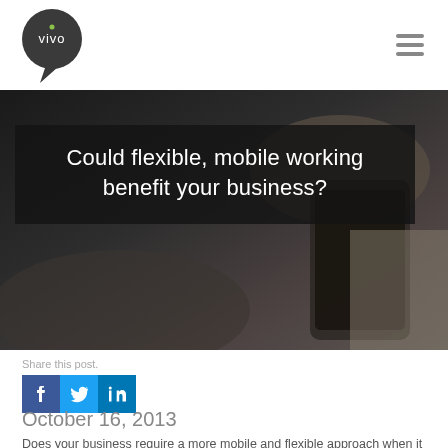[Figure (logo): Vivo speech bubble logo - dark circle with white 'vivo' text and a small green dot over the 'i']
[Figure (photo): Background photo of hands holding a smartphone/tablet device, dark moody tone]
Could flexible, mobile working benefit your business?
Share this post.
[Figure (infographic): Social share icons: Facebook (blue f), Twitter (light blue bird), LinkedIn (blue in)]
October 16, 2013
Does your business require a more mobile and flexible approach when it comes to communication? Mobile working